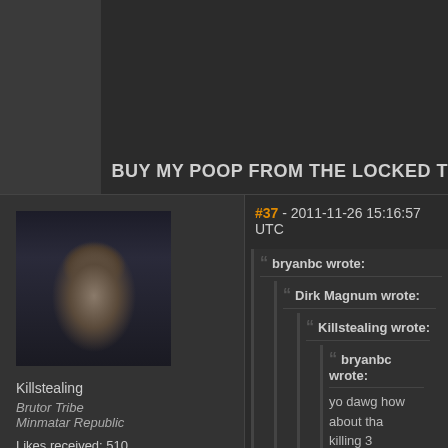BUY MY POOP FROM THE LOCKED T
[Figure (photo): Forum avatar showing a bald man with sunglasses, game character art from EVE Online]
Killstealing
Brutor Tribe
Minmatar Republic
Likes received: 510
#37 - 2011-11-26 15:16:57 UTC
bryanbc wrote:
Dirk Magnum wrote:
Killstealing wrote:
bryanbc wrote:
yo dawg how about tha killing 3 members and buy my poop!
https://forums.eveonlin
are you their worst poster